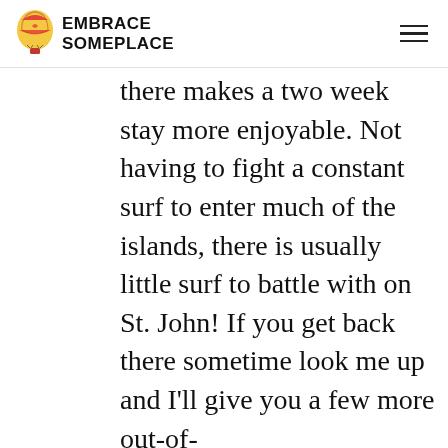EMBRACE SOMEPLACE
there makes a two week stay more enjoyable. Not having to fight a constant surf to enter much of the islands, there is usually little surf to battle with on St. John! If you get back there sometime look me up and I'll give you a few more out-of-